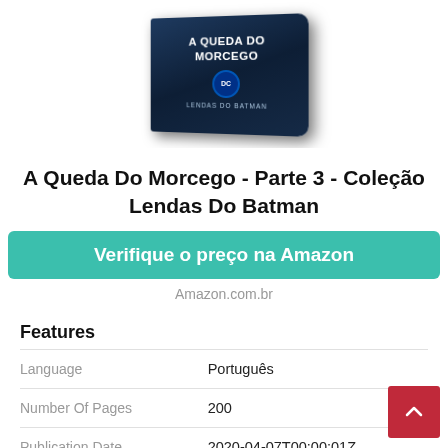[Figure (photo): Product image of the book 'A Queda Do Morcego - Parte 3 - Coleção Lendas Do Batman', showing a 3D box cover with dark blue/teal Batman-themed artwork and the DC Comics logo.]
A Queda Do Morcego - Parte 3 - Coleção Lendas Do Batman
Verifique o preço na Amazon
Amazon.com.br
Features
|  |  |
| --- | --- |
| Language | Português |
| Number Of Pages | 200 |
| Publication Date | 2020-04-07T00:00:01Z |